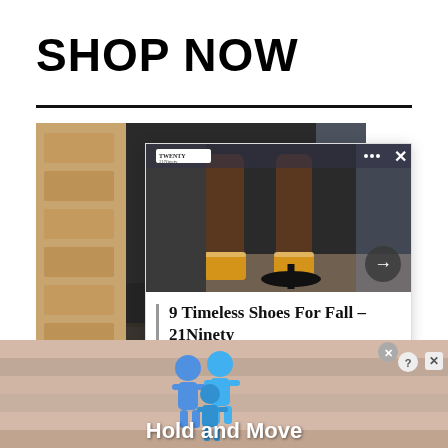SHOP NOW
[Figure (screenshot): Screenshot of a webpage card showing legs with yellow socks and the article title '9 Timeless Shoes For Fall - 21Ninety']
[Figure (infographic): Advertisement banner with two blue person figures and text 'Hold and Move' on a tan/pink background]